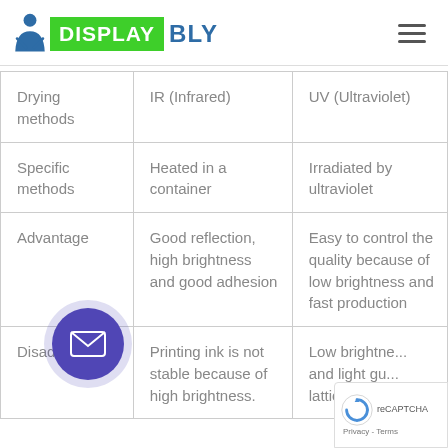DISPLAYBLY
| Drying methods | IR (Infrared) | UV (Ultraviolet) |
| --- | --- | --- |
| Specific methods | Heated in a container | Irradiated by ultraviolet |
| Advantage | Good reflection, high brightness and good adhesion | Easy to control the quality because of low brightness and fast production |
| Disadvantage | Printing ink is not stable because of high brightness. | Low brightness and light gu... lattice point is |